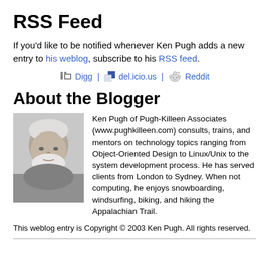RSS Feed
If you'd like to be notified whenever Ken Pugh adds a new entry to his weblog, subscribe to his RSS feed.
Digg | del.icio.us | Reddit
About the Blogger
[Figure (photo): Black and white headshot of Ken Pugh, an older man with white hair and beard.]
Ken Pugh of Pugh-Killeen Associates (www.pughkilleen.com) consults, trains, and mentors on technology topics ranging from Object-Oriented Design to Linux/Unix to the system development process. He has served clients from London to Sydney. When not computing, he enjoys snowboarding, windsurfing, biking, and hiking the Appalachian Trail.
This weblog entry is Copyright © 2003 Ken Pugh. All rights reserved.